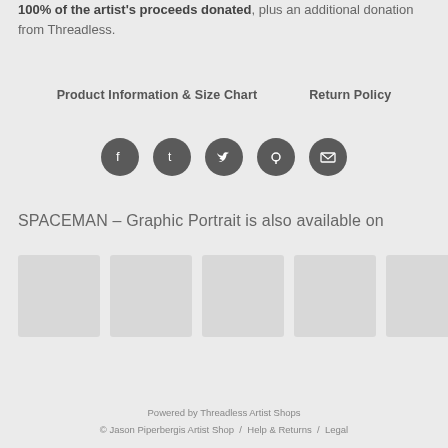Removing financial and logistical barriers to abortion access.
100% of the artist's proceeds donated, plus an additional donation from Threadless.
Product Information & Size Chart    Return Policy
[Figure (infographic): Five social media share icons in dark grey circles: Facebook, Tumblr, Twitter, Pinterest, Email]
SPACEMAN – Graphic Portrait is also available on
[Figure (other): Six grey thumbnail product preview images in a horizontal row]
Powered by Threadless Artist Shops
© Jason Piperbergis Artist Shop / Help & Returns / Legal